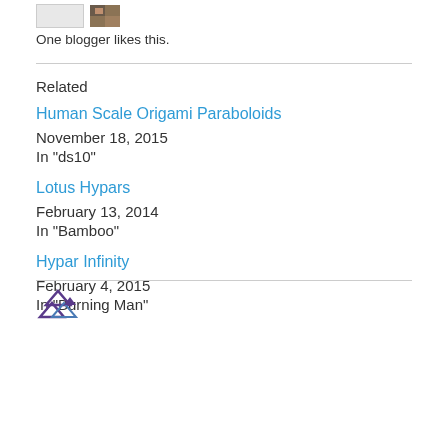One blogger likes this.
Related
Human Scale Origami Paraboloids
November 18, 2015
In "ds10"
Lotus Hypars
February 13, 2014
In "Bamboo"
Hypar Infinity
February 4, 2015
In "Burning Man"